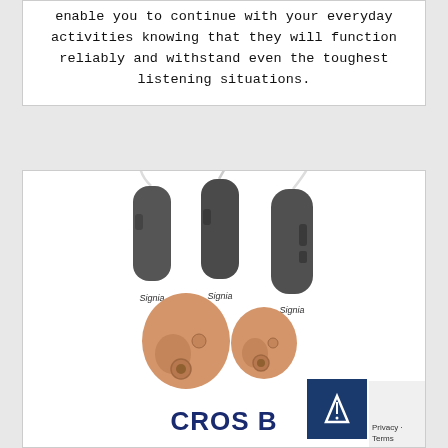enable you to continue with your everyday activities knowing that they will function reliably and withstand even the toughest listening situations.
[Figure (photo): Three grey behind-the-ear (BTE) hearing aids shown in a row, and two skin-toned in-the-ear (ITE) hearing aids in front. All are Signia CROS B style devices.]
CROS B